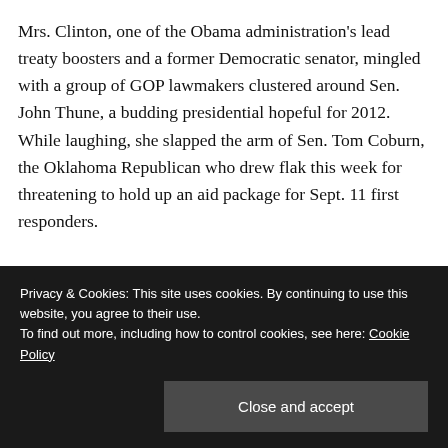Mrs. Clinton, one of the Obama administration's lead treaty boosters and a former Democratic senator, mingled with a group of GOP lawmakers clustered around Sen. John Thune, a budding presidential hopeful for 2012. While laughing, she slapped the arm of Sen. Tom Coburn, the Oklahoma Republican who drew flak this week for threatening to hold up an aid package for Sept. 11 first responders.
Later she walked the aisle with Sen. Kay Bailey
Privacy & Cookies: This site uses cookies. By continuing to use this website, you agree to their use.
To find out more, including how to control cookies, see here: Cookie Policy
Close and accept